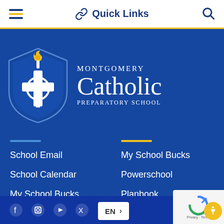Quick Links
[Figure (logo): Montgomery Catholic Preparatory School logo — shield with torch and cross on blue background with school name text]
School Email
School Calendar
My School Bucks
Lunch Orders
My School Bucks
Powerschool
Planbook
News